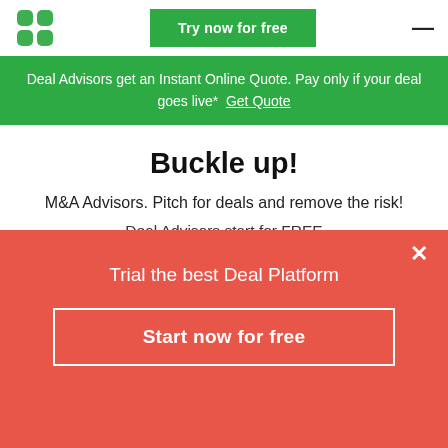[Figure (logo): Green four-leaf clover / app icon logo]
Try now for free
≡
Deal Advisors get an Instant Online Quote. Pay only if your deal goes live*  Get Quote
Buckle up!
M&A Advisors. Pitch for deals and remove the risk!
Deal Advisors start for FREE
Trial the best Deal Platform
Start now for free